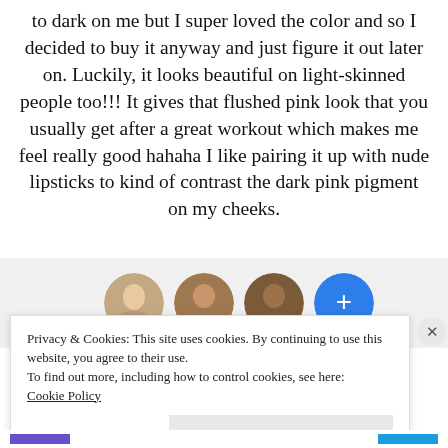to dark on me but I super loved the color and so I decided to buy it anyway and just figure it out later on. Luckily, it looks beautiful on light-skinned people too!!! It gives that flushed pink look that you usually get after a great workout which makes me feel really good hahaha I like pairing it up with nude lipsticks to kind of contrast the dark pink pigment on my cheeks.
[Figure (photo): Row of circular avatar photos of four people (three faces and one blue icon with a plus/info symbol) on a light grey background, partially visible, appearing to be user profile pictures from a website.]
Privacy & Cookies: This site uses cookies. By continuing to use this website, you agree to their use.
To find out more, including how to control cookies, see here:
Cookie Policy

Close and accept